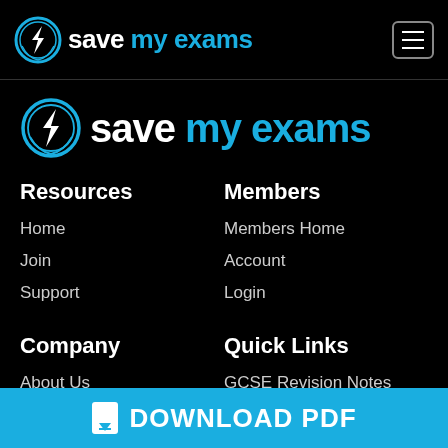save my exams (logo header with hamburger menu)
[Figure (logo): Save My Exams logo — circular lightning bolt icon in blue/white with text 'save my exams' where 'my exams' is in cyan/blue]
Resources
Home
Join
Support
Members
Members Home
Account
Login
Company
About Us
Quick Links
GCSE Revision Notes
DOWNLOAD PDF